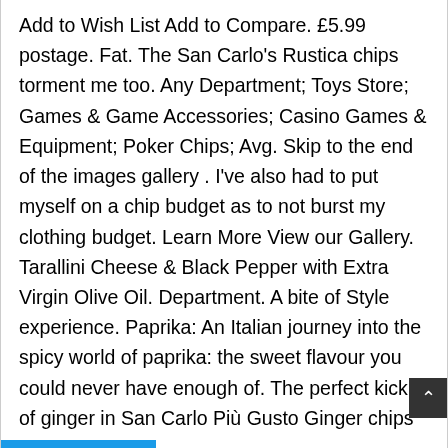Add to Wish List Add to Compare. £5.99 postage. Fat. The San Carlo's Rustica chips torment me too. Any Department; Toys Store; Games & Game Accessories; Casino Games & Equipment; Poker Chips; Avg. Skip to the end of the images gallery . I've also had to put myself on a chip budget as to not burst my clothing budget. Learn More View our Gallery. Tarallini Cheese & Black Pepper with Extra Virgin Olive Oil. Department. A bite of Style experience. Paprika: An Italian journey into the spicy world of paprika: the sweet flavour you could never have enough of. The perfect kick of ginger in San Carlo Più Gusto Ginger chips easily matches any drink at your aperitivo. Super Thingies Spicy Tomato (54 Packs per Box) 3.7 out of 5 stars 17. COSORI Air Fryer with 100 Recipes Book, 3.5L Oil Free Chip Fryer 11 Cooking Presets, One-Touch Digital Screen, Preheat, Shake Remind, Nonstick Basket, for Low Fat